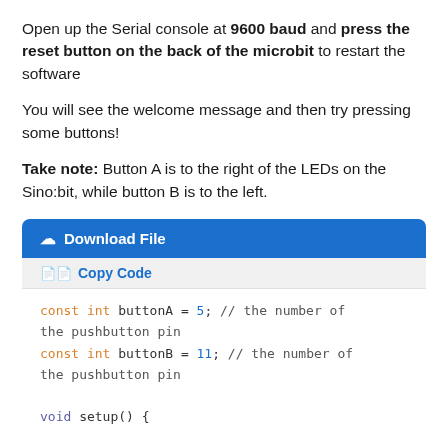Open up the Serial console at 9600 baud and press the reset button on the back of the microbit to restart the software
You will see the welcome message and then try pressing some buttons!
Take note: Button A is to the right of the LEDs on the Sino:bit, while button B is to the left.
[Figure (screenshot): Code block with Download File button, Copy Code link, and Arduino code showing const int buttonA = 5 and const int buttonB = 11 variable declarations, plus beginning of void setup() function]